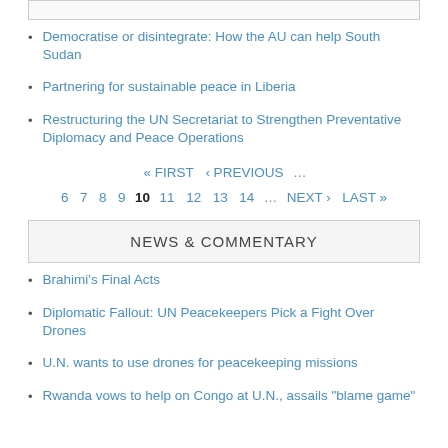Democratise or disintegrate: How the AU can help South Sudan
Partnering for sustainable peace in Liberia
Restructuring the UN Secretariat to Strengthen Preventative Diplomacy and Peace Operations
« FIRST  ‹ PREVIOUS  ...  6  7  8  9  10  11  12  13  14  ...  NEXT ›  LAST »
NEWS & COMMENTARY
Brahimi's Final Acts
Diplomatic Fallout: UN Peacekeepers Pick a Fight Over Drones
U.N. wants to use drones for peacekeeping missions
Rwanda vows to help on Congo at U.N., assails "blame game"